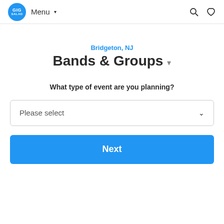GIG SALAD | Menu | Search | Favorites
Bridgeton, NJ
Bands & Groups
What type of event are you planning?
Please select
Next